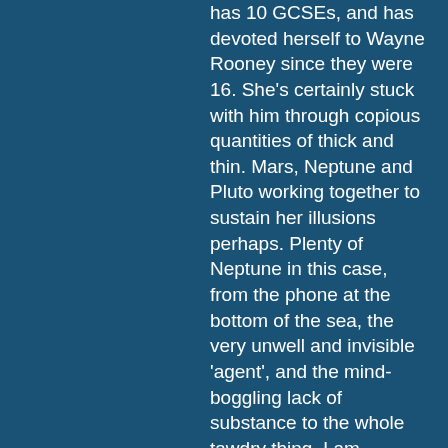has 10 GCSEs, and has devoted herself to Wayne Rooney since they were 16. She's certainly stuck with him through copious quantities of thick and thin. Mars, Neptune and Pluto working together to sustain her illusions perhaps. Plenty of Neptune in this case, from the phone at the bottom of the sea, the very unwell and invisible 'agent', and the mind-boggling lack of substance to the whole tawdry thing. I am amazed it got to court.